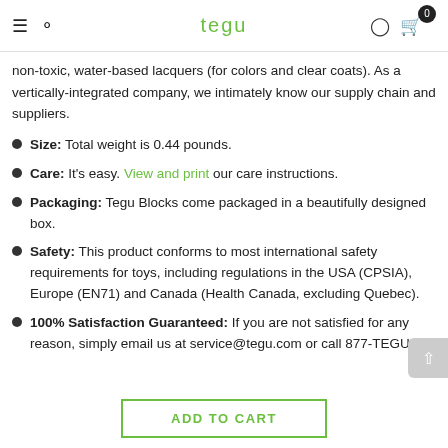tegu — navigation header with hamburger, search, logo, user, and cart icons
non-toxic, water-based lacquers (for colors and clear coats). As a vertically-integrated company, we intimately know our supply chain and suppliers.
Size: Total weight is 0.44 pounds.
Care: It's easy. View and print our care instructions.
Packaging: Tegu Blocks come packaged in a beautifully designed box.
Safety: This product conforms to most international safety requirements for toys, including regulations in the USA (CPSIA), Europe (EN71) and Canada (Health Canada, excluding Quebec).
100% Satisfaction Guaranteed: If you are not satisfied for any reason, simply email us at service@tegu.com or call 877-TEGU-
ADD TO CART